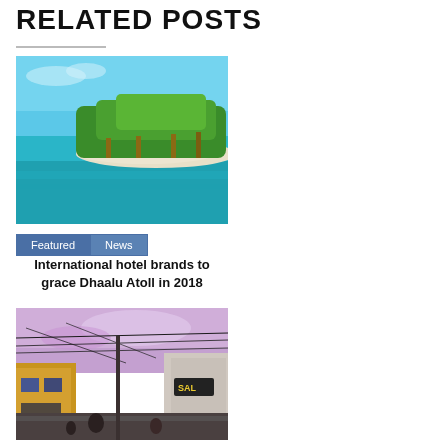RELATED POSTS
[Figure (photo): Tropical island with palm trees and turquoise water]
Featured  News
International hotel brands to grace Dhaalu Atoll in 2018
[Figure (photo): Street scene at dusk with power lines and colorful buildings]